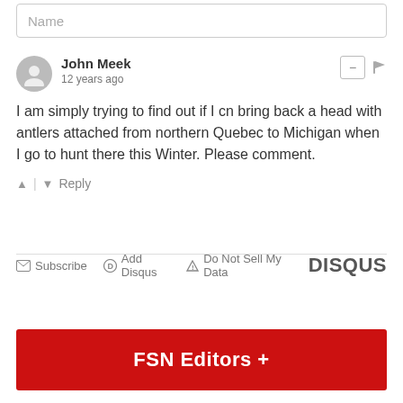Name
John Meek
12 years ago
I am simply trying to find out if I cn bring back a head with antlers attached from northern Quebec to Michigan when I go to hunt there this Winter. Please comment.
Subscribe  Add Disqus  Do Not Sell My Data  DISQUS
FSN Editors +